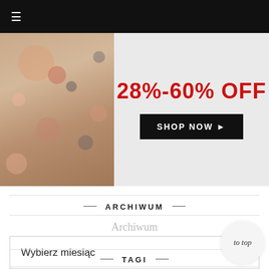☰
[Figure (photo): Promotional fashion banner showing a woman in a floral dress on the left, with red bold text '28%-60% OFF' and a black 'SHOP NOW ▶' button on the right side against a light grey background.]
— ARCHIWUM —
Archiwum
Wybierz miesiąc
— TAGI —